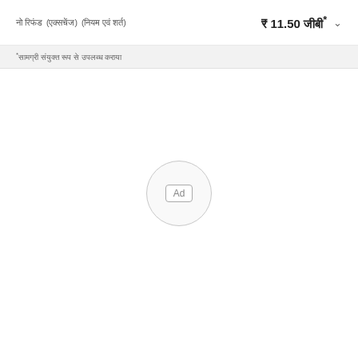नो रिफंड (एक्सचेंज) (नियम एवं शर्त) ₹ 11.50 जीबी*
*सामग्री संयुक्त रूप से उपलब्ध कराया
[Figure (other): Ad placeholder circle with 'Ad' label in center]